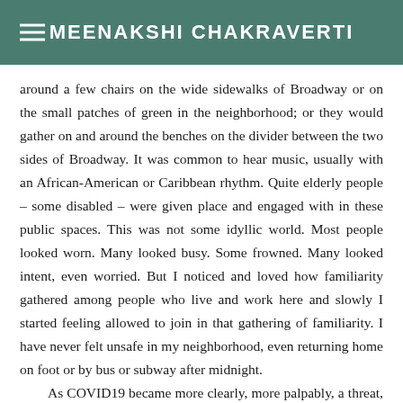MEENAKSHI CHAKRAVERTI
around a few chairs on the wide sidewalks of Broadway or on the small patches of green in the neighborhood; or they would gather on and around the benches on the divider between the two sides of Broadway. It was common to hear music, usually with an African-American or Caribbean rhythm. Quite elderly people – some disabled – were given place and engaged with in these public spaces. This was not some idyllic world. Most people looked worn. Many looked busy. Some frowned. Many looked intent, even worried. But I noticed and loved how familiarity gathered among people who live and work here and slowly I started feeling allowed to join in that gathering of familiarity. I have never felt unsafe in my neighborhood, even returning home on foot or by bus or subway after midnight.
As COVID19 became more clearly, more palpably, a threat, we were told to stay home except for essential services (health care and…)